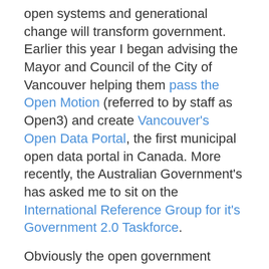open systems and generational change will transform government. Earlier this year I began advising the Mayor and Council of the City of Vancouver helping them pass the Open Motion (referred to by staff as Open3) and create Vancouver's Open Data Portal, the first municipal open data portal in Canada. More recently, the Australian Government's has asked me to sit on the International Reference Group for it's Government 2.0 Taskforce.
Obviously the open government movement is quite broad, but my recent work has pushed me to try to distill out the essence of the Open Data piece of this movement. What, ultimately, do we need and are we asking for. Consequently, while presenting for a panel discussion on Conference for Parliamentarians: Transparency in the Digital Era fro Right to Know Week organized by the Canadian Government's Office of the Information